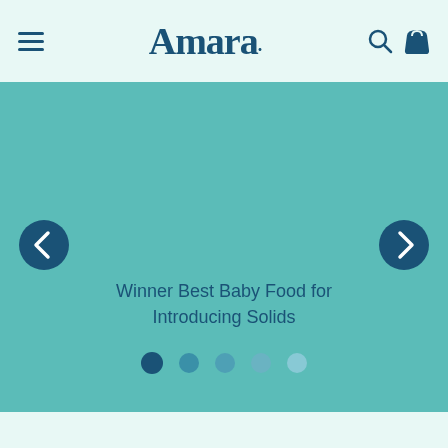Amara. [hamburger menu, search icon, bag icon]
[Figure (screenshot): Amara baby food website carousel banner with teal background showing navigation arrows and 5 dot indicators. Text reads: Winner Best Baby Food for Introducing Solids]
Winner Best Baby Food for Introducing Solids